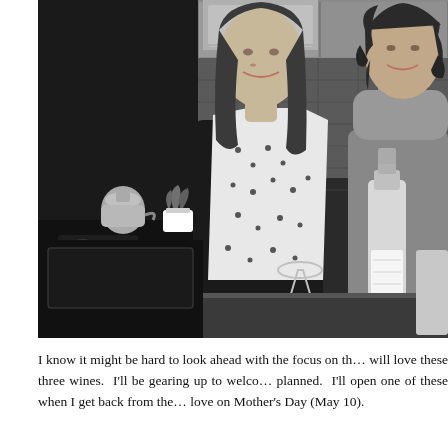[Figure (photo): Black and white photo of two women smiling in a kitchen. The woman on the left wears a floral apron over a black top and has long hair. The woman on the right wears a turtleneck sweater. On the counter in front of them are wine/liquor bottles, a cocktail glass, and other items. In the background is a stovetop with a kettle, a small potted plant, and kitchen cabinets.]
I know it might be hard to look ahead with the focus on th… will love these three wines. I'll be gearing up to welco… planned. I'll open one of these when I get back from the… love on Mother's Day (May 10).